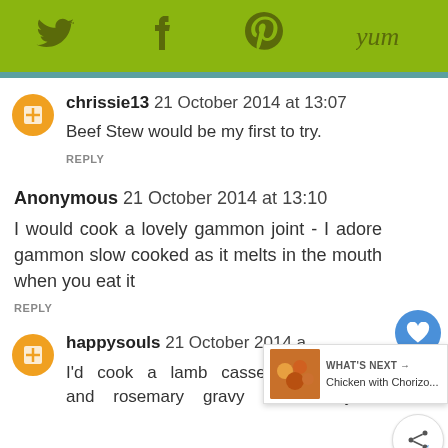[Figure (other): Social sharing bar with Twitter, Facebook, Pinterest, and Yummly icons on green background]
chrissie13  21 October 2014 at 13:07
Beef Stew would be my first to try.
REPLY
Anonymous  21 October 2014 at 13:10
I would cook a lovely gammon joint - I adore gammon slow cooked as it melts in the mouth when you eat it
REPLY
happysouls  21 October 2014 a...
I'd cook a lamb casserole with rich garlic and rosemary gravy and herby
[Figure (other): What's Next panel: Chicken with Chorizo... preview image]